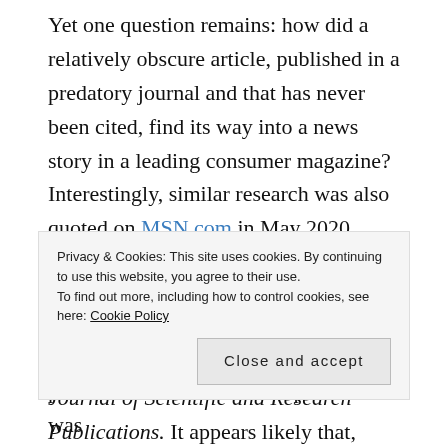Yet one question remains: how did a relatively obscure article, published in a predatory journal and that has never been cited, find its way into a news story in a leading consumer magazine? Interestingly, similar research was also quoted on MSN.com in May 2020 which also quoted the International Journal of Scientific Research, while other sites have also quoted the same research but from the International Journal of Scientific and Research Publications. It appears likely that, having been quoted online once, the same
Privacy & Cookies: This site uses cookies. By continuing to use this website, you agree to their use. To find out more, including how to control cookies, see here: Cookie Policy
place, that used a small sample size and was